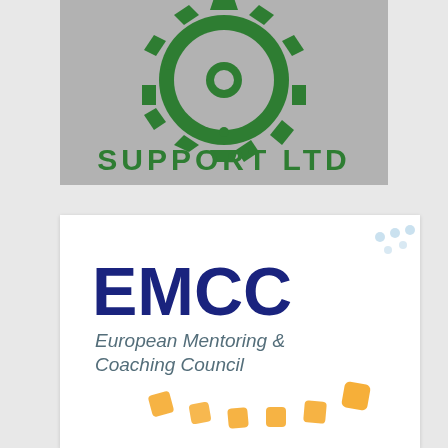[Figure (logo): Green gear/cog logo with text 'SUPPORT LTD' on a gray background, partially cropped at top]
[Figure (logo): EMCC - European Mentoring & Coaching Council logo on white background with orange dot arc decoration and light blue dot accents in upper right]